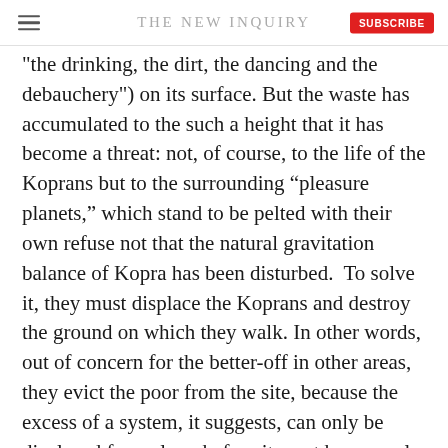THE NEW INQUIRY
"the drinking, the dirt, the dancing and the debauchery") on its surface. But the waste has accumulated to the such a height that it has become a threat: not, of course, to the life of the Koprans but to the surrounding “pleasure planets,” which stand to be pelted with their own refuse not that the natural gravitation balance of Kopra has been disturbed.  To solve it, they must displace the Koprans and destroy the ground on which they walk. In other words, out of concern for the better-off in other areas, they evict the poor from the site, because the excess of a system, it suggests, can only be displaced for so long before it must be properly destroyed.